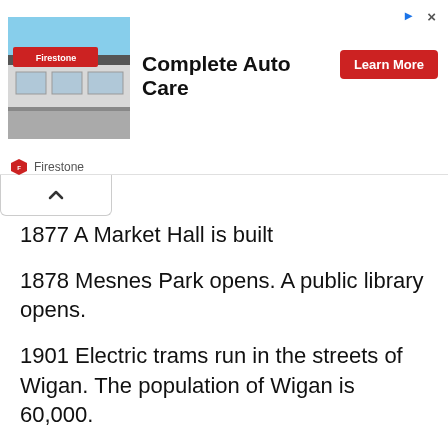[Figure (screenshot): Firestone Complete Auto Care advertisement banner with store image, 'Complete Auto Care' heading, and 'Learn More' red button]
1877 A Market Hall is built
1878 Mesnes Park opens. A public library opens.
1901 Electric trams run in the streets of Wigan. The population of Wigan is 60,000.
1937 During a time of severe economic hardship George Orwell writes The Road to Wigan Pier